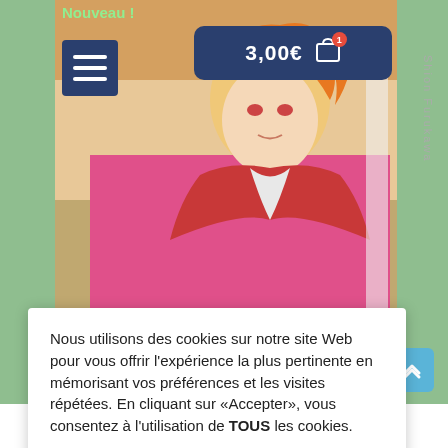Nouveau !
[Figure (screenshot): Manga book cover showing anime character with orange/red hair in red outfit on pink background, with 'Shion Furukawa' text on spine. Website screenshot with navigation hamburger menu button and shopping cart showing 3,00€ with 1 item badge.]
Nous utilisons des cookies sur notre site Web pour vous offrir l'expérience la plus pertinente en mémorisant vos préférences et les visites répétées. En cliquant sur «Accepter», vous consentez à l'utilisation de TOUS les cookies.
Gestion des cookies
ACCEPTER
7)
1,50€